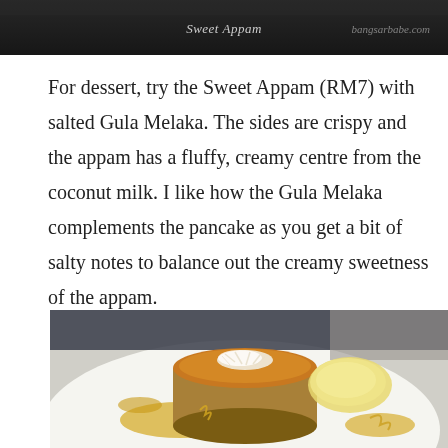[Figure (photo): Top portion of a food photo showing a Sweet Appam dish with caption 'Sweet Appam' and watermark 'bangsarbabe.com' on a dark background]
For dessert, try the Sweet Appam (RM7) with salted Gula Melaka. The sides are crispy and the appam has a fluffy, creamy centre from the coconut milk. I like how the Gula Melaka complements the pancake as you get a bit of salty notes to balance out the creamy sweetness of the appam.
[Figure (photo): Close-up photo of a Sweet Appam on a white plate — a round, thick pancake with caramelized brown top, shredded coconut, golden sauce drizzled around, and a scoop of yellow butter/cream on the side]